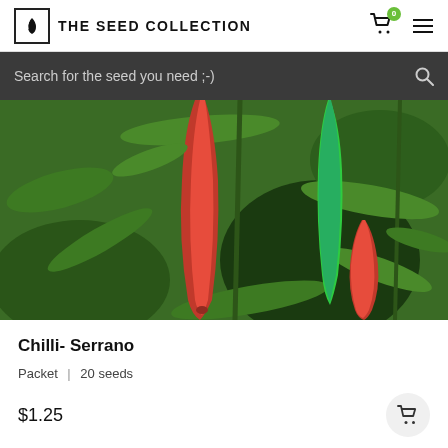THE SEED COLLECTION
Search for the seed you need  ;-)
[Figure (photo): Close-up photo of Serrano chilli peppers on a plant, showing red and green peppers among green leaves.]
Chilli- Serrano
Packet | 20 seeds
$1.25